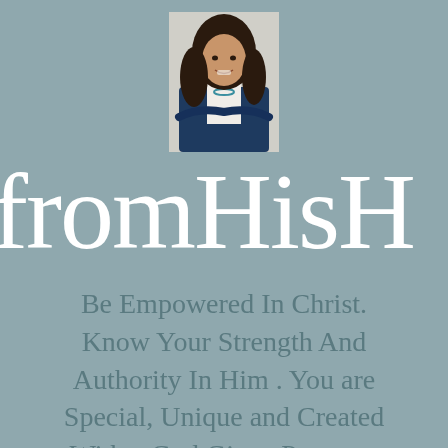[Figure (photo): Headshot of a woman with long dark hair wearing a navy blazer and white blouse with a blue necklace, smiling, professional portrait]
fromHisH
Be Empowered In Christ. Know Your Strength And Authority In Him . You are Special, Unique and Created With a God Given Purpose.